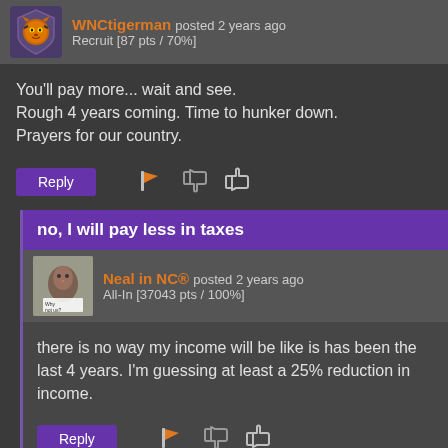WNCtigerman posted 2 years ago
Recruit [87 pts / 70%]
You'll pay more... wait and see.
Rough 4 years coming. Time to hunker down.
Prayers for our country.
no, I will pay less in taxes
Neal in NC® posted 2 years ago
All-In [37043 pts / 100%]
there is no way my income will be like is has been the last 4 years. I'm guessing at least a 25% reduction in income.